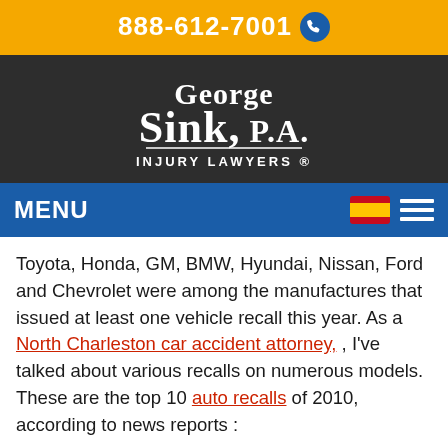888-612-7001
[Figure (logo): George Sink, P.A. Injury Lawyers logo in white text on dark background]
MENU
Toyota, Honda, GM, BMW, Hyundai, Nissan, Ford and Chevrolet were among the manufactures that issued at least one vehicle recall this year. As a North Charleston car accident attorney, , I've talked about various recalls on numerous models. These are the top 10 auto recalls of 2010, according to news reports :